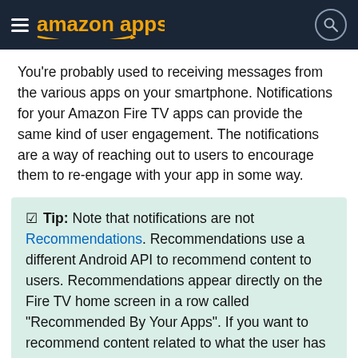amazon appstore
You're probably used to receiving messages from the various apps on your smartphone. Notifications for your Amazon Fire TV apps can provide the same kind of user engagement. The notifications are a way of reaching out to users to encourage them to re-engage with your app in some way.
☑ Tip: Note that notifications are not Recommendations. Recommendations use a different Android API to recommend content to users. Recommendations appear directly on the Fire TV home screen in a row called "Recommended By Your Apps". If you want to recommend content related to what the user has been watching, send a